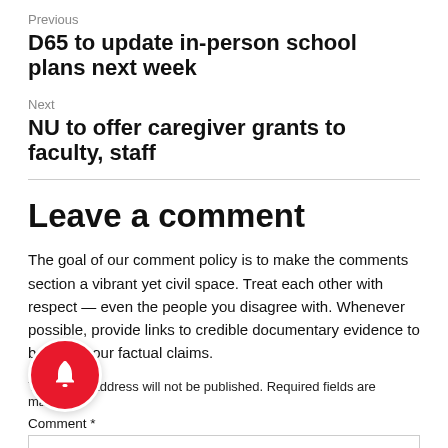Previous
D65 to update in-person school plans next week
Next
NU to offer caregiver grants to faculty, staff
Leave a comment
The goal of our comment policy is to make the comments section a vibrant yet civil space. Treat each other with respect — even the people you disagree with. Whenever possible, provide links to credible documentary evidence to back up your factual claims.
Your email address will not be published. Required fields are marked *
Comment *